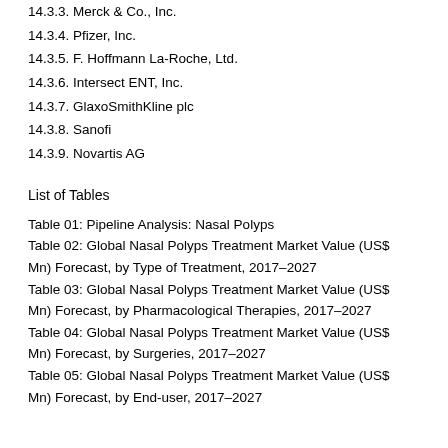14.3.3. Merck & Co., Inc.
14.3.4. Pfizer, Inc.
14.3.5. F. Hoffmann La-Roche, Ltd.
14.3.6. Intersect ENT, Inc.
14.3.7. GlaxoSmithKline plc
14.3.8. Sanofi
14.3.9. Novartis AG
List of Tables
Table 01: Pipeline Analysis: Nasal Polyps
Table 02: Global Nasal Polyps Treatment Market Value (US$ Mn) Forecast, by Type of Treatment, 2017–2027
Table 03: Global Nasal Polyps Treatment Market Value (US$ Mn) Forecast, by Pharmacological Therapies, 2017–2027
Table 04: Global Nasal Polyps Treatment Market Value (US$ Mn) Forecast, by Surgeries, 2017–2027
Table 05: Global Nasal Polyps Treatment Market Value (US$ Mn) Forecast, by End-user, 2017–2027